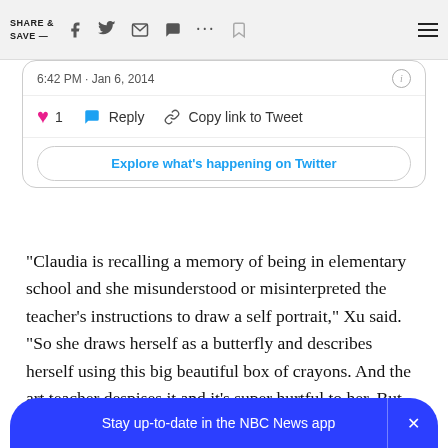SHARE & SAVE —
[Figure (screenshot): Partial Twitter/X tweet card showing timestamp '6:42 PM · Jan 6, 2014', like count of 1, Reply button, Copy link to Tweet button, and Explore what's happening on Twitter button]
“Claudia is recalling a memory of being in elementary school and she misunderstood or misinterpreted the teacher’s instructions to draw a self portrait,” Xu said. “So she draws herself as a butterfly and describes herself using this big beautiful box of crayons. And the art teacher despises it and it’s super hurtful to her. But then her grandmother comes to the rescue and puts the teac
Stay up-to-date in the NBC News app